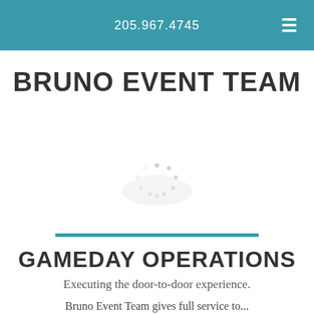205.967.4745
BRUNO EVENT TEAM
[Figure (other): Loading spinner icon — circular dashed spinner in light gray on a light background]
GAMEDAY OPERATIONS
Executing the door-to-door experience.
Bruno Event Team gives full service to...